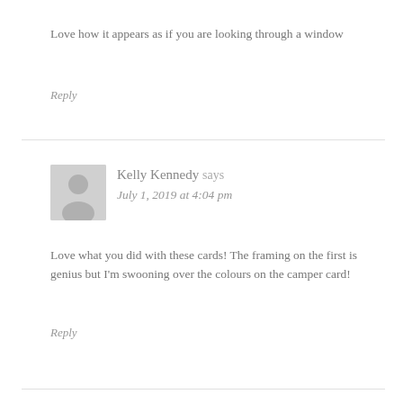Love how it appears as if you are looking through a window
Reply
Kelly Kennedy says
July 1, 2019 at 4:04 pm
Love what you did with these cards! The framing on the first is genius but I'm swooning over the colours on the camper card!
Reply